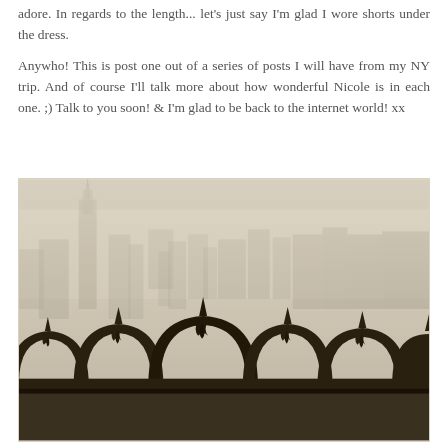adore. In regards to the length... let's just say I'm glad I wore shorts under the dress.
Anywho! This is post one out of a series of posts I will have from my NY trip. And of course I'll talk more about how wonderful Nicole is in each one. ;) Talk to you soon! & I'm glad to be back to the internet world! xx
[Figure (photo): Vintage-toned photograph taken from a high observation deck looking out over the New York City skyline in hazy conditions. In the foreground are ornate dark metal gothic-style railing arches with fleur-de-lis finials. The Empire State Building is visible prominently on the left side of the skyline in the misty background.]